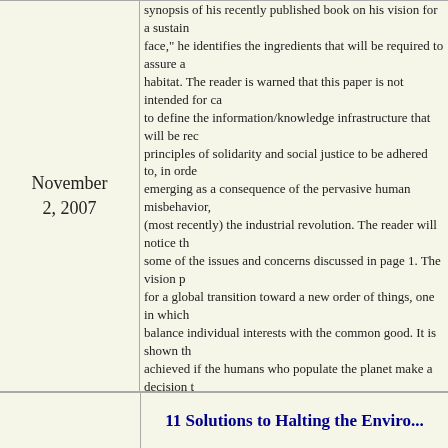November 2, 2007
synopsis of his recently published book on his vision for a sustainable future. Under the heading "challenges we face," he identifies the ingredients that will be required to assure a sustainable human habitat. The reader is warned that this paper is not intended for casual reading. It covers what some see as the need to define the information/knowledge infrastructure that will be required, and the solidarity principles of solidarity and social justice to be adhered to, in order to face the global crisis that is emerging as a consequence of the pervasive human misbehavior, starting with agriculture and (most recently) the industrial revolution. The reader will notice that vision proposed here mirrors some of the issues and concerns discussed in page 1. The vision proposed is about the requirements for a global transition toward a new order of things, one in which new institutions and governance frameworks balance individual interests with the common good. It is shown that such a transition can only be achieved if the humans who populate the planet make a decision to abandon the vision of pursuing the accumulation of wealth and power as the only path to "happiness." The global crisis may itself trigger a sequence of events that forces making such decisions in a peaceful or not peaceful manner. Let us pray and work for a transition from homo economicus to homo sapiens so that the transition can be peaceful. This is the path of truth, freedom, and care; the path for our children and grandchildren. This is the only path of sure hope.
This article is an overview of a book by the author: "VISION OF A SUSTAINABLE DEVELOPMENT SOCIETY – THE FUTURE OF THE WORLD IN A TRANSDISCIPLINARY PERSPECTIVE" (in Polish), published by Polish Academy of Sciences Committee for Future Studies "Poland 2000 Plus", Warsaw, Poland, 2006. This book is a summary of many years of research on the current global crisis. This definitive work presents the Quality of Life evidence-based model that couples the realities of globalization and global crisis with the urgent need to identify and analyze the conditions for transitioning the global human community toward a new worldwide civilization that uses information for sustainable development and, in particular, sustainable human development.
11 Solutions to Halting the Environmental...